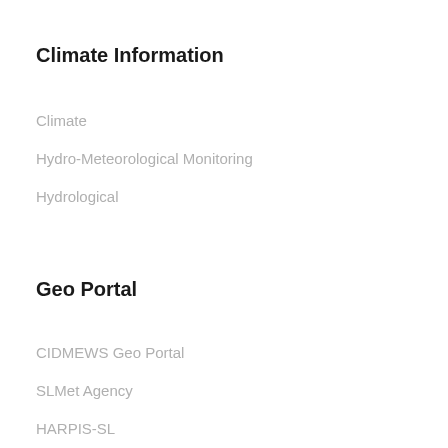Climate Information
Climate
Hydro-Meteorological Monitoring
Hydrological
Geo Portal
CIDMEWS Geo Portal
SLMet Agency
HARPIS-SL